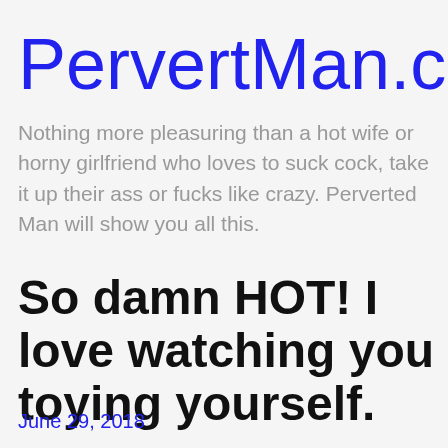PervertMan.com
Nothing more pleasuring than a hot wife or horny girlfriend who loves to suck cock, take it up their ass or fucks like crazy. Perverted Man will show you all this.
So damn HOT! I love watching you toying yourself.
June 29, 2018